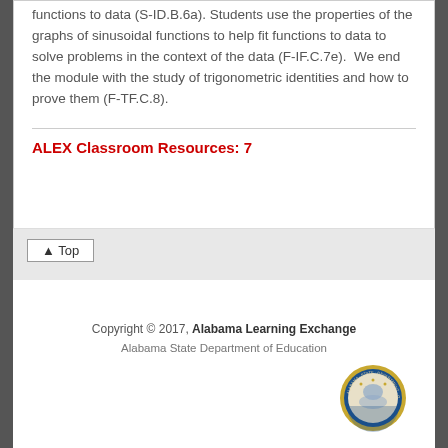functions to data (S-ID.B.6a). Students use the properties of the graphs of sinusoidal functions to help fit functions to data to solve problems in the context of the data (F-IF.C.7e). We end the module with the study of trigonometric identities and how to prove them (F-TF.C.8).
ALEX Classroom Resources: 7
▲ Top
Copyright © 2017, Alabama Learning Exchange
Alabama State Department of Education